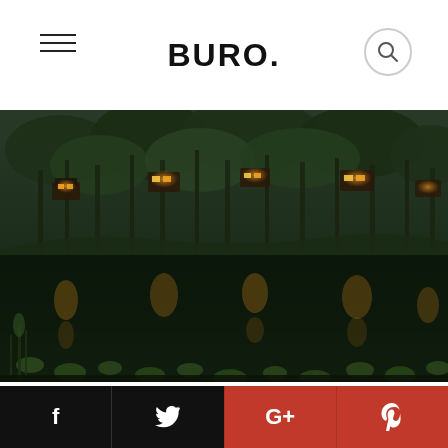BURO.
[Figure (photo): Illuminated eco-retreat cabins nestled among tall trees reflected in a still pond with lily pads in the foreground, taken at dusk]
A little further from the hustle and bustle of Sydney, just 45 minutes from the CBD, once you settle into the surrounds of Billabong Retreat you'll be forgiven for thinking you are millions of miles away. This eco retreat offers resort style facilities in
Social sharing bar: Facebook, Twitter, Google+, Pinterest